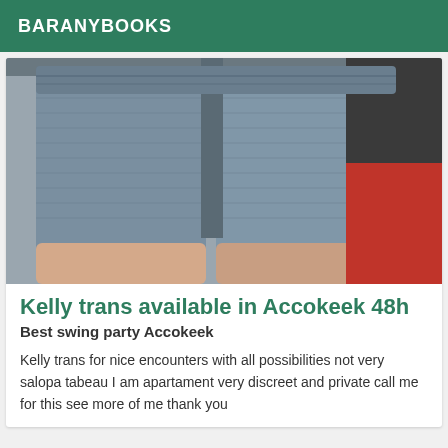BARANYBOOKS
[Figure (photo): Close-up photo of a person wearing blue/grey knit shorts, showing from waist to upper thigh, with a red surface visible in the background right.]
Kelly trans available in Accokeek 48h
Best swing party Accokeek
Kelly trans for nice encounters with all possibilities not very salopa tabeau I am apartament very discreet and private call me for this see more of me thank you